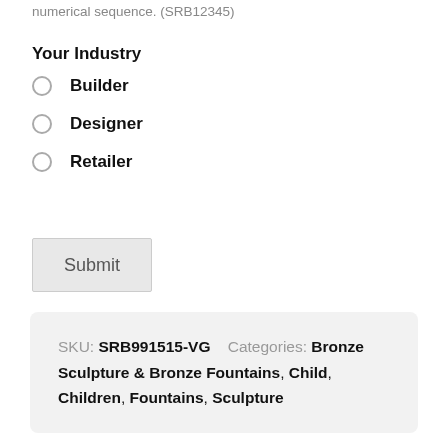numerical sequence. (SRB12345)
Your Industry
Builder
Designer
Retailer
Submit
SKU: SRB991515-VG   Categories: Bronze Sculpture & Bronze Fountains, Child, Children, Fountains, Sculpture